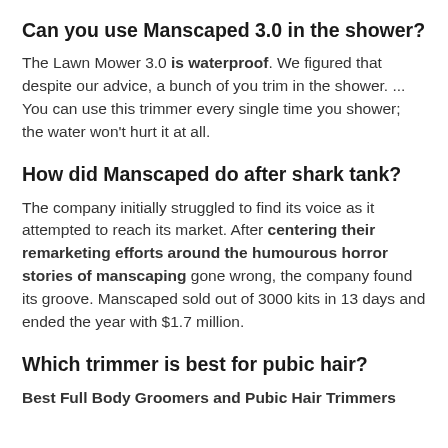Can you use Manscaped 3.0 in the shower?
The Lawn Mower 3.0 is waterproof. We figured that despite our advice, a bunch of you trim in the shower. ... You can use this trimmer every single time you shower; the water won't hurt it at all.
How did Manscaped do after shark tank?
The company initially struggled to find its voice as it attempted to reach its market. After centering their remarketing efforts around the humourous horror stories of manscaping gone wrong, the company found its groove. Manscaped sold out of 3000 kits in 13 days and ended the year with $1.7 million.
Which trimmer is best for pubic hair?
Best Full Body Groomers and Pubic Hair Trimmers